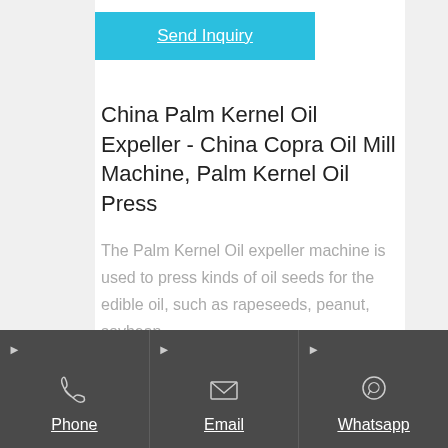Send Inquiry
China Palm Kernel Oil Expeller - China Copra Oil Mill Machine, Palm Kernel Oil Press
The Palm Kernel Oil expeller machine is used to press kinds of oil seeds for the edible oil, such as rapeseeds, peanut, soybean,
Phone | Email | Whatsapp